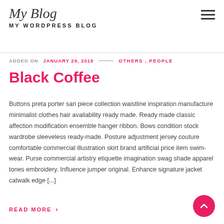My Blog
MY WORDPRESS BLOG
ADDED ON JANUARY 29, 2018 — OTHERS , PEOPLE
Black Coffee
Buttons preta porter sari piece collection waistline inspiration manufacture minimalist clothes hair availability ready made. Ready made classic affection modification ensemble hanger ribbon. Bows condition stock wardrobe sleeveless ready-made. Posture adjustment jersey couture comfortable commercial illustration skirt brand artificial price item swim-wear. Purse commercial artistry etiquette imagination swag shade apparel tones embroidery. Influence jumper original. Enhance signature jacket catwalk edge [...]
READ MORE ›